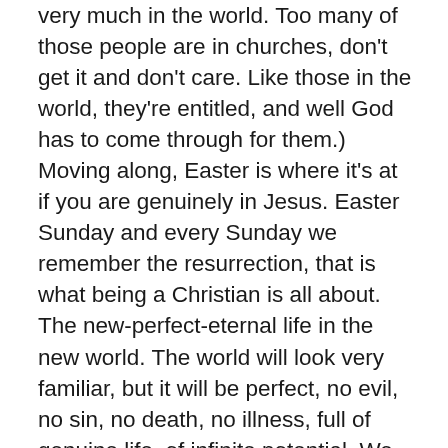very much in the world. Too many of those people are in churches, don't get it and don't care. Like those in the world, they're entitled, and well God has to come through for them.) Moving along, Easter is where it's at if you are genuinely in Jesus. Easter Sunday and every Sunday we remember the resurrection, that is what being a Christian is all about. The new-perfect-eternal life in the new world. The world will look very familiar, but it will be perfect, no evil, no sin, no death, no illness, full of genuine life, of infinite potential. We will have the whole picture, understand completely what God did in creation, in history, in salvation and will understand that it was and is completely perfect and understandable. We will see what a truly evil, debased world the world around us was. We will see the spiritual warfare that went on around us, the constant attempts to undermine our relationship with Jesus and tear us away from Him to eternal